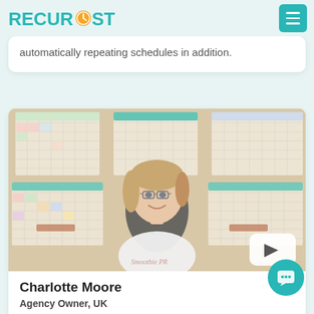RecurPost
automatically repeating schedules in addition.
[Figure (photo): Video thumbnail showing a woman (Charlotte Moore) sitting at a desk in front of a wall covered with calendars. She is smiling and wearing glasses and a white t-shirt. A YouTube-style play button is visible in the bottom right corner.]
Charlotte Moore
Agency Owner, UK
Charlotte, one of our older users, beautifully explains how RecurPost has helped her grow her marketing agency and